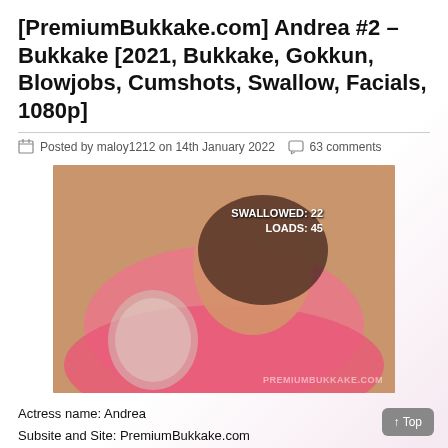[PremiumBukkake.com] Andrea #2 – Bukkake [2021, Bukkake, Gokkun, Blowjobs, Cumshots, Swallow, Facials, 1080p]
Posted by maloy1212 on 14th January 2022  63 comments
[Figure (photo): Woman in pink outfit with mouth open, holding a glass cup. Overlay text: SWALLOWED: 22 LOADS: 45. Watermark: PREMIUMBUKKAKE.COM]
Actress name: Andrea
Subsite and Site: PremiumBukkake.com
Production